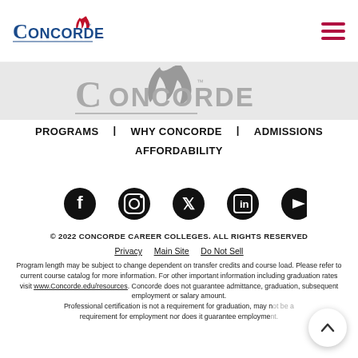[Figure (logo): Concorde Career Colleges logo with flame icon in blue and red]
[Figure (logo): Concorde watermark logo in gray, partially visible]
PROGRAMS
WHY CONCORDE
ADMISSIONS
AFFORDABILITY
[Figure (illustration): Social media icons: Facebook, Instagram, Twitter, LinkedIn, YouTube]
© 2022 CONCORDE CAREER COLLEGES. ALL RIGHTS RESERVED
Privacy   Main Site   Do Not Sell
Program length may be subject to change dependent on transfer credits and course load. Please refer to current course catalog for more information. For other important information including graduation rates visit www.Concorde.edu/resources. Concorde does not guarantee admittance, graduation, subsequent employment or salary amount. Professional certification is not a requirement for graduation, may not be a requirement for employment nor does it guarantee employment.